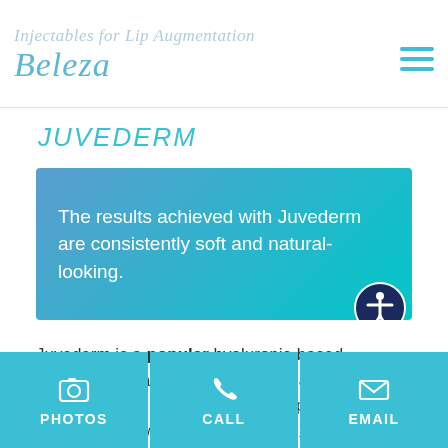Injectables for Lip Augmentation | Beleza
JUVEDERM
[Figure (infographic): Teal gradient banner with white text: 'The results achieved with Juvederm are consistently soft and natural-looking.' Accessibility icon in bottom right corner.]
Juvederm is a popular hyaluronic-based injectable released the same company that created Botox. Patients have the option of lip augmentation with Juvederm Ultra XC, which contains lidocaine, an anesthetic that will keep patients comfortable during
[Figure (infographic): Bottom navigation bar with three teal buttons: PHOTOS (camera icon), CALL (phone icon), EMAIL (envelope icon).]